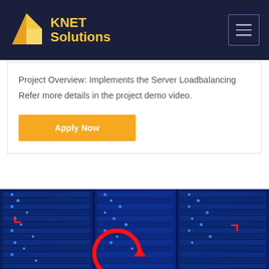KNET Solutions
Project Overview: Implements the Server Loadbalancing Refer more details in the project demo video.
Apply Now
[Figure (photo): Blue-toned photo of server racks with glowing blue lights and red circular arrow overlay, partially visible at the bottom of the page]